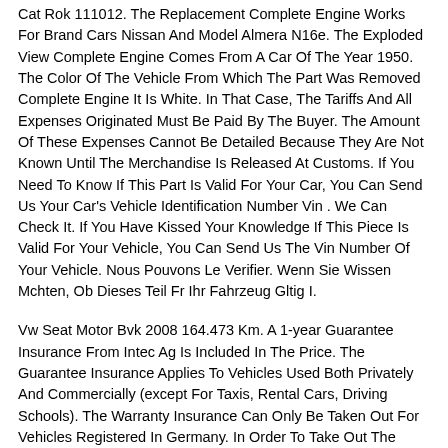Cat Rok 111012. The Replacement Complete Engine Works For Brand Cars Nissan And Model Almera N16e. The Exploded View Complete Engine Comes From A Car Of The Year 1950. The Color Of The Vehicle From Which The Part Was Removed Complete Engine It Is White. In That Case, The Tariffs And All Expenses Originated Must Be Paid By The Buyer. The Amount Of These Expenses Cannot Be Detailed Because They Are Not Known Until The Merchandise Is Released At Customs. If You Need To Know If This Part Is Valid For Your Car, You Can Send Us Your Car's Vehicle Identification Number Vin . We Can Check It. If You Have Kissed Your Knowledge If This Piece Is Valid For Your Vehicle, You Can Send Us The Vin Number Of Your Vehicle. Nous Pouvons Le Verifier. Wenn Sie Wissen Mchten, Ob Dieses Teil Fr Ihr Fahrzeug Gltig I.
Vw Seat Motor Bvk 2008 164.473 Km. A 1-year Guarantee Insurance From Intec Ag Is Included In The Price. The Guarantee Insurance Applies To Vehicles Used Both Privately And Commercially (except For Taxis, Rental Cars, Driving Schools). The Warranty Insurance Can Only Be Taken Out For Vehicles Registered In Germany. In Order To Take Out The Guarantee Insurance, We Need Your Vehicle Registration Document And The Mileage Of Your Vehicle. You Will Receive The Insurance Documents And Guarantee Conditions By Email. Since We Also Offer Our Spare Parts On Other Portals, We